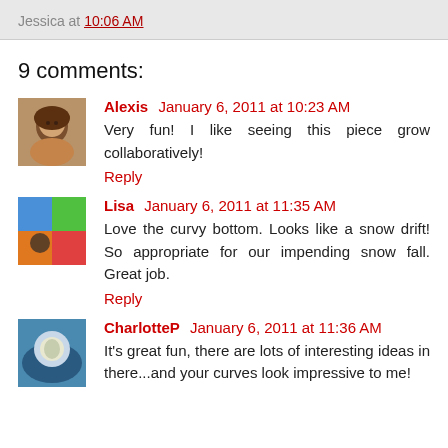Jessica at 10:06 AM
9 comments:
Alexis January 6, 2011 at 10:23 AM
Very fun! I like seeing this piece grow collaboratively!
Reply
Lisa January 6, 2011 at 11:35 AM
Love the curvy bottom. Looks like a snow drift! So appropriate for our impending snow fall. Great job.
Reply
CharlotteP January 6, 2011 at 11:36 AM
It's great fun, there are lots of interesting ideas in there...and your curves look impressive to me!